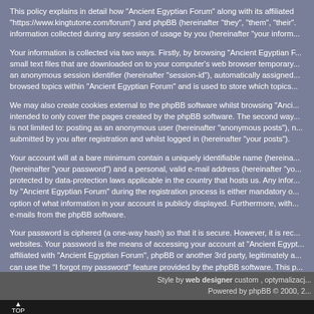This policy explains in detail how "Ancient Egyptian Forum" along with its affiliated "https://www.kingtutone.com/forum") and phpBB (hereinafter "they", "them", "their". information collected during any session of usage by you (hereinafter "your inform...
Your information is collected via two ways. Firstly, by browsing "Ancient Egyptian F... small text files that are downloaded on to your computer's web browser temporary... an anonymous session identifier (hereinafter "session-id"), automatically assigned... browsed topics within "Ancient Egyptian Forum" and is used to store which topics...
We may also create cookies external to the phpBB software whilst browsing "Anci... intended to only cover the pages created by the phpBB software. The second way... is not limited to: posting as an anonymous user (hereinafter "anonymous posts"), n... submitted by you after registration and whilst logged in (hereinafter "your posts").
Your account will at a bare minimum contain a uniquely identifiable name (hereina... (hereinafter "your password") and a personal, valid e-mail address (hereinafter "yo... protected by data-protection laws applicable in the country that hosts us. Any infor... by "Ancient Egyptian Forum" during the registration process is either mandatory o... option of what information in your account is publicly displayed. Furthermore, with... e-mails from the phpBB software.
Your password is ciphered (a one-way hash) so that it is secure. However, it is rec... websites. Your password is the means of accessing your account at "Ancient Egypt... affiliated with "Ancient Egyptian Forum", phpBB or another 3rd party, legitimately a... can use the "I forgot my password" feature provided by the phpBB software. This p... software will generate a new password to reclaim your account.
Back to lo...
Style by web designer custom , optymalizacj... Powered by phpBB © 2000, 2...